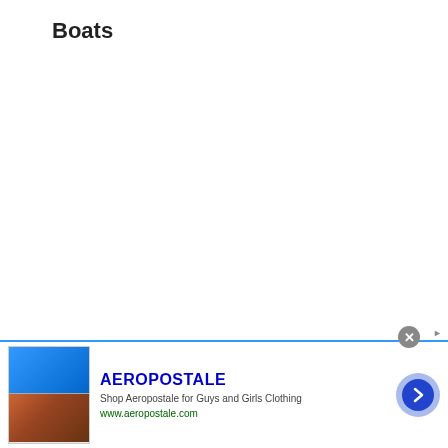Boats
The nice thing about boats is that they stop many mobs and can provide safe haven for